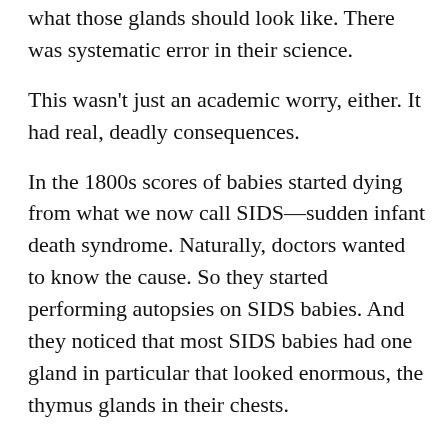what those glands should look like. There was systematic error in their science.
This wasn't just an academic worry, either. It had real, deadly consequences.
In the 1800s scores of babies started dying from what we now call SIDS—sudden infant death syndrome. Naturally, doctors wanted to know the cause. So they started performing autopsies on SIDS babies. And they noticed that most SIDS babies had one gland in particular that looked enormous, the thymus glands in their chests.
I novelty, t h e y a s s u m e d t h e y